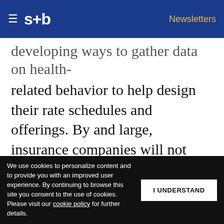s+b | Newsletters
developing ways to gather data on health-related behavior to help design their rate schedules and offerings. By and large, insurance companies will not want to create their own version of the quantified self. Instead, they will work with services that already exist: the Fitbit, which measures physical activity; emerging systems that measure, blood sugar, weight and other health-related
Get s+b's award-winning newsletter delivered to your inbox.
We use cookies to personalize content and to provide you with an improved user experience. By continuing to browse this site you consent to the use of cookies. Please visit our cookie policy for further details.